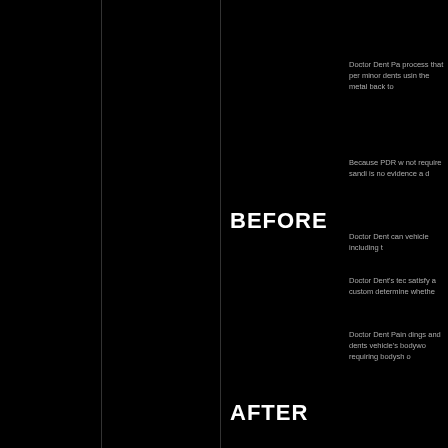Doctor Dent Pa process that per minor dents usin the metal back to
Because PDR w not require sandi is no evidence a d
BEFORE
Doctor Dent can vehicle including t
Doctor Dent's te satisfy a custom determine whethe
Doctor Dent Pain dings and dents vehicle's bodywo requiring bodysh o
AFTER